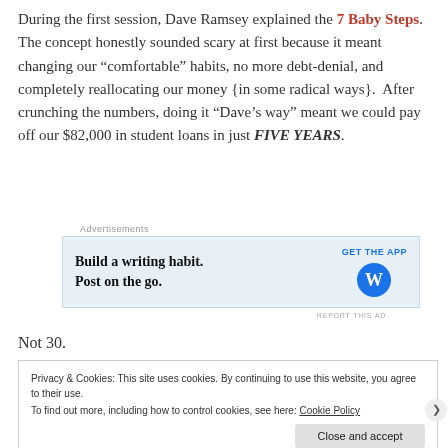During the first session, Dave Ramsey explained the 7 Baby Steps. The concept honestly sounded scary at first because it meant changing our “comfortable” habits, no more debt-denial, and completely reallocating our money {in some radical ways}. After crunching the numbers, doing it “Dave’s way” meant we could pay off our $82,000 in student loans in just FIVE YEARS.
[Figure (screenshot): WordPress mobile app advertisement: 'Build a writing habit. Post on the go.' with GET THE APP button and WordPress logo]
Not 30.
Privacy & Cookies: This site uses cookies. By continuing to use this website, you agree to their use. To find out more, including how to control cookies, see here: Cookie Policy